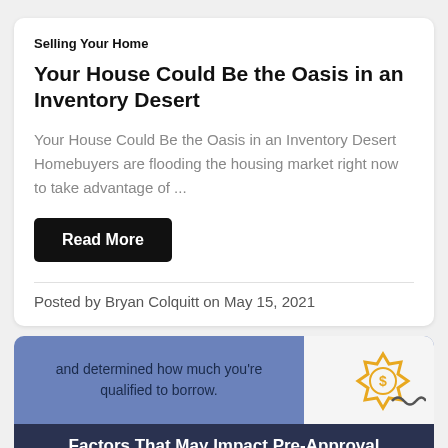Selling Your Home
Your House Could Be the Oasis in an Inventory Desert
Your House Could Be the Oasis in an Inventory Desert Homebuyers are flooding the housing market right now to take advantage of ...
Read More
Posted by Bryan Colquitt on May 15, 2021
[Figure (infographic): Infographic about mortgage pre-approval. Top section with blue background shows text 'and determined how much you're qualified to borrow.' with a gold badge icon and wavy line on the right. Bottom section with dark navy background shows title 'Factors That May Impact Pre-Approval' with icons: check/document, car, money bag with dollar sign, number tiles 7 2 0, and briefcase. An eye-with-slash icon circle appears at bottom left.]